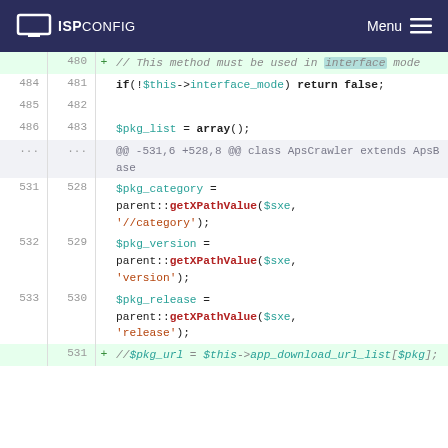ISPConfig  Menu
[Figure (screenshot): Code diff view showing PHP code changes with line numbers, added lines highlighted in green, and hunk headers. Lines 480-533 old / 481-531 new are shown.]